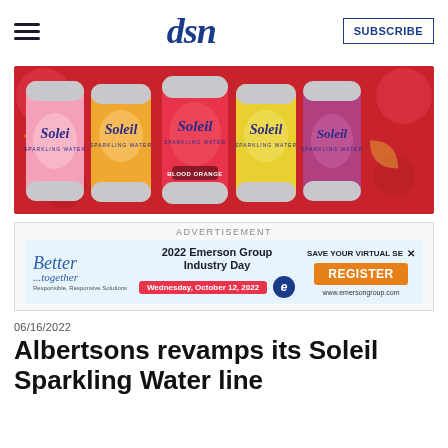dsn | SUBSCRIBE
[Figure (photo): Five Soleil sparkling water cans arranged in a row against a red decorative background. Flavors visible include grapefruit/pink, mango/orange, blood orange (red can), lime/yellow-green, and berry/purple. Each can displays the 'Soleil' brand name in script lettering.]
ADVERTISEMENT
[Figure (infographic): Advertisement for 2022 Emerson Group Industry Day. Features 'Better ...together' text in blue script on light blue background, event title '2022 Emerson Group Industry Day', date 'Wednesday, October 12, 2022' in red pill, Emerson 'e' logo, 'SAVE YOUR VIRTUAL SE' text with X button, orange REGISTER button, and www.emersongroup.com URL.]
06/16/2022
Albertsons revamps its Soleil Sparkling Water line